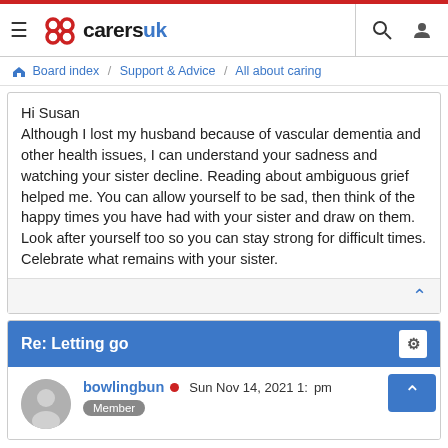Carers UK - Board index / Support & Advice / All about caring
Hi Susan
Although I lost my husband because of vascular dementia and other health issues, I can understand your sadness and watching your sister decline. Reading about ambiguous grief helped me. You can allow yourself to be sad, then think of the happy times you have had with your sister and draw on them. Look after yourself too so you can stay strong for difficult times. Celebrate what remains with your sister.
Re: Letting go
bowlingbun  Sun Nov 14, 2021 1:... pm
Member